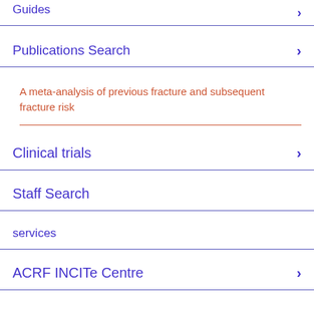Guides
Publications Search
A meta-analysis of previous fracture and subsequent fracture risk
Clinical trials
Staff Search
services
ACRF INCITe Centre